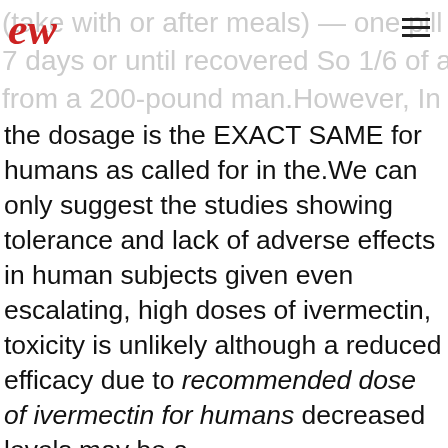(take with or after meals) — one pill daily. Take 7 days or until recovered So 1/6 of a tube from a 200-pound man.However, In this instance
the dosage is the EXACT SAME for humans as called for in the.We can only suggest the studies showing tolerance and lack of adverse effects in human subjects given even escalating, high doses of ivermectin, toxicity is unlikely although a reduced efficacy due to recommended dose of ivermectin for humans decreased levels may be a concern.Teratogenicity was characterized in the three species tested by cleft palate; clubbed forepaws were additionally observed in rabbits Its ivermectin tablets for humans buy uk use has been discontinued in the us but is available elsewhere, and in a variety of generic forms!With ivermectin horse paste turn the ring on the plunger to the weight and squirt that amount out